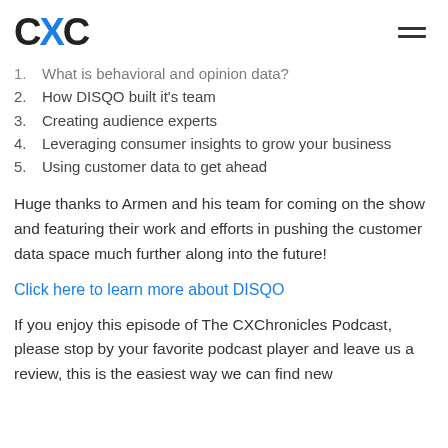CXC [logo with hamburger menu]
1.  What is behavioral and opinion data?
2.  How DISQO built it's team
3.  Creating audience experts
4.  Leveraging consumer insights to grow your business
5.  Using customer data to get ahead
Huge thanks to Armen and his team for coming on the show and featuring their work and efforts in pushing the customer data space much further along into the future!
Click here to learn more about DISQO
If you enjoy this episode of The CXChronicles Podcast, please stop by your favorite podcast player and leave us a review, this is the easiest way we can find new